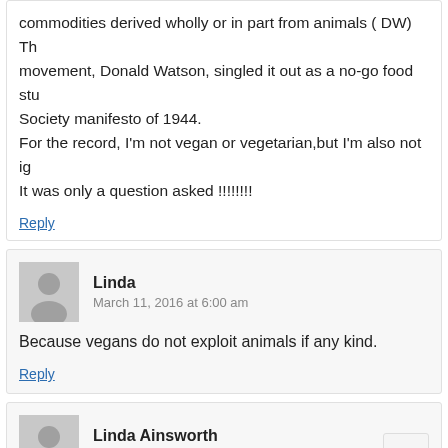commodities derived wholly or in part from animals ( DW) The movement, Donald Watson, singled it out as a no-go food stu Society manifesto of 1944.
For the record, I'm not vegan or vegetarian,but I'm also not ig
It was only a question asked !!!!!!!!
Reply
Linda
March 11, 2016 at 6:00 am
Because vegans do not exploit animals if any kind.
Reply
Linda Ainsworth
March 11, 2016 at 11:46 am